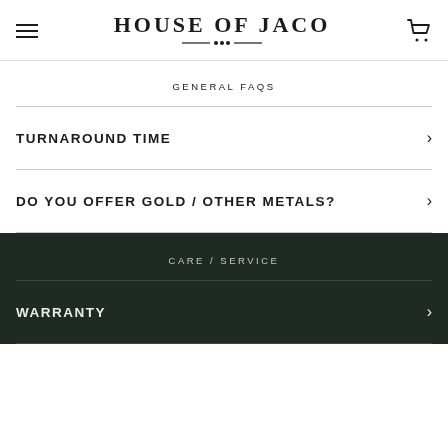HOUSE OF JACO
GENERAL FAQS
TURNAROUND TIME
DO YOU OFFER GOLD / OTHER METALS?
CARE / SERVICE
WARRANTY